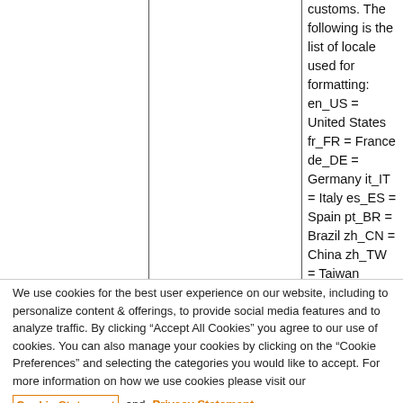customs. The following is the list of locale used for formatting: en_US = United States fr_FR = France de_DE = Germany it_IT = Italy es_ES = Spain pt_BR = Brazil zh_CN = China zh_TW = Taiwan
We use cookies for the best user experience on our website, including to personalize content & offerings, to provide social media features and to analyze traffic. By clicking “Accept All Cookies” you agree to our use of cookies. You can also manage your cookies by clicking on the “Cookie Preferences” and selecting the categories you would like to accept. For more information on how we use cookies please visit our Cookie Statement and Privacy Statement